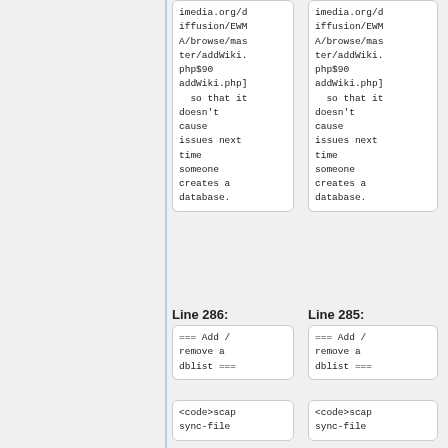imedia.org/diffusion/EWMA/browse/master/addWiki.php$90 addWiki.php] so that it doesn't cause issues next time someone creates a database.
imedia.org/diffusion/EWMA/browse/master/addWiki.php$90 addWiki.php] so that it doesn't cause issues next time someone creates a database.
Line 286:
Line 285:
=== Add / remove a dblist ===
=== Add / remove a dblist ===
<code>scap sync-file
<code>scap sync-file